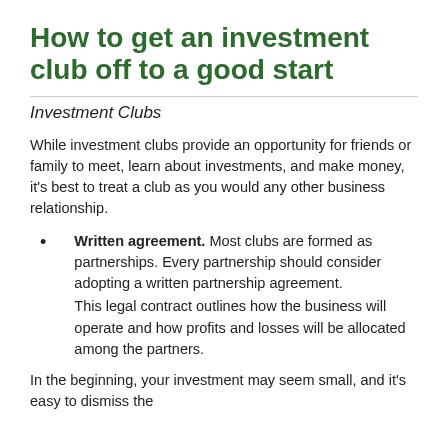How to get an investment club off to a good start
Investment Clubs
While investment clubs provide an opportunity for friends or family to meet, learn about investments, and make money, it's best to treat a club as you would any other business relationship.
Written agreement. Most clubs are formed as partnerships. Every partnership should consider adopting a written partnership agreement. This legal contract outlines how the business will operate and how profits and losses will be allocated among the partners.
In the beginning, your investment may seem small, and it's easy to dismiss the